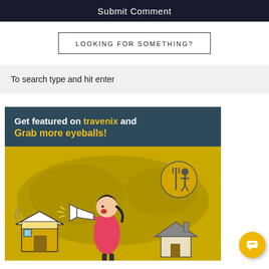Submit Comment
LOOKING FOR SOMETHING?
To search type and hit enter
[Figure (illustration): Travenix promotional banner: dark teal header reads 'Get featured on travenix and Grab more eyeballs!' with a cartoon girl holding a megaphone on a yellow background with map silhouette and travel icons (shop, house, farm tools).]